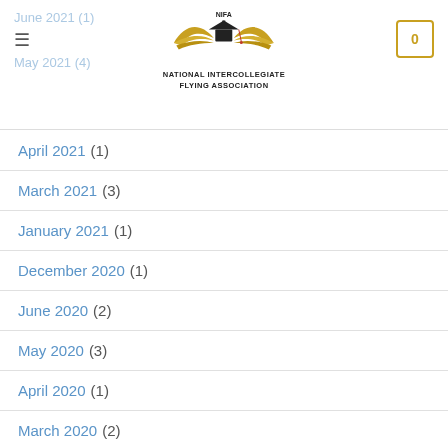NIFA - National Intercollegiate Flying Association
June 2021 (1)
May 2021 (4)
April 2021 (1)
March 2021 (3)
January 2021 (1)
December 2020 (1)
June 2020 (2)
May 2020 (3)
April 2020 (1)
March 2020 (2)
November 2019 (3)
October 2019 (7)